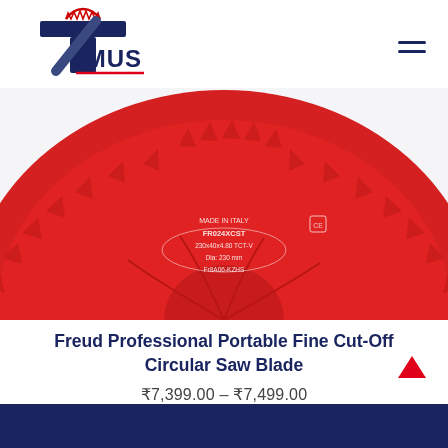Timus — navigation header with logo and hamburger menu
[Figure (photo): Red circular saw blade (Freud Professional) showing teeth and made-in-Italy markings, viewed from bottom-half perspective on white/light background]
Freud Professional Portable Fine Cut-Off Circular Saw Blade
₹7,399.00 – ₹7,499.00
[Figure (other): Red upward arrow scroll-to-top button on right side]
[Figure (other): Dark navy blue bottom action bar / button]